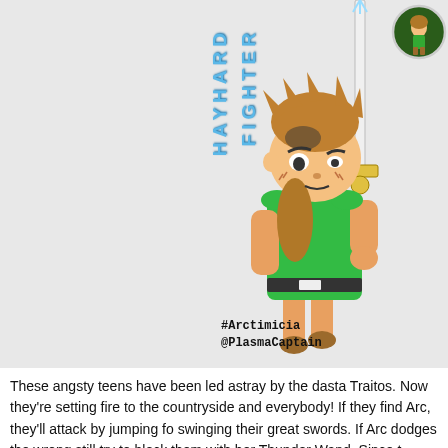[Figure (illustration): Cartoon anime-style character: a teen boy with spiky brown hair, wearing a green tunic and brown boots, holding a large sword upward. Vertical text 'HAYHARD FIGHTER' in blue letters flanks the character. A small avatar icon in a green circle appears top right. Watermark '#Arctimicia @PlasmaCaptain' at the bottom of the illustration.]
These angsty teens have been led astray by the dasta Traitos. Now they're setting fire to the countryside and everybody! If they find Arc, they'll attack by jumping fo swinging their great swords. If Arc dodges the wrong still try to block them with her Thunder Wand. Since t strong enough to harm most enemies, it's more like a